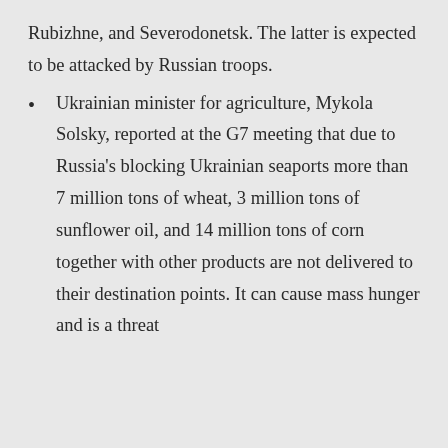Rubizhne, and Severodonetsk. The latter is expected to be attacked by Russian troops.
Ukrainian minister for agriculture, Mykola Solsky, reported at the G7 meeting that due to Russia's blocking Ukrainian seaports more than 7 million tons of wheat, 3 million tons of sunflower oil, and 14 million tons of corn together with other products are not delivered to their destination points. It can cause mass hunger and is a threat